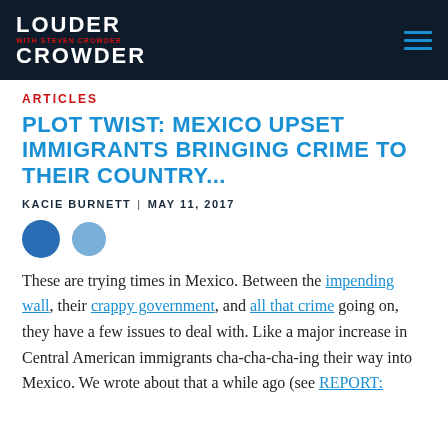LOUDER WITH CROWDER
ARTICLES
PLOT TWIST: MEXICO UPSET IMMIGRANTS BRINGING CRIME TO THEIR COUNTRY...
KACIE BURNETT | MAY 11, 2017
[Figure (other): Two social sharing icon circles (dark blue Facebook and lighter blue icon)]
These are trying times in Mexico. Between the impending wall, their crappy government, and all that crime going on, they have a few issues to deal with. Like a major increase in Central American immigrants cha-cha-cha-ing their way into Mexico. We wrote about that a while ago (see REPORT: